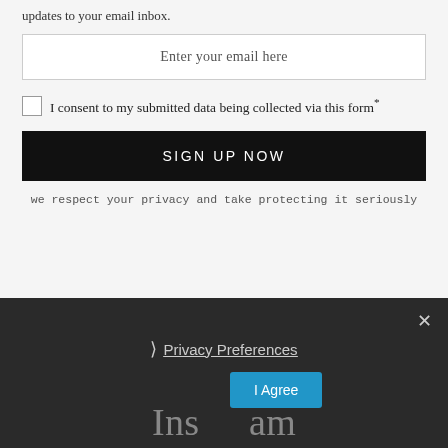updates to your email inbox.
Enter your email here
I consent to my submitted data being collected via this form*
SIGN UP NOW
we respect your privacy and take protecting it seriously
×
Privacy Preferences
I Agree
Instagram